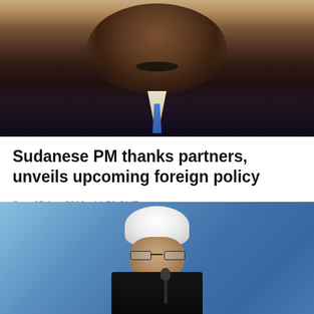[Figure (photo): Photo of a dark-skinned man in a dark suit with a blue tie, speaking or at a press conference, cropped to show head and upper torso against a beige/tan background.]
Sudanese PM thanks partners, unveils upcoming foreign policy
Sun, 25 Aug 2019 - 11:58 GMT
The statements of Hamduk came during his first TV interview since he took up the post earlier this week with Sudanese 24 channel.
[Figure (photo): Photo of a man wearing a white turban and dark clerical robe, speaking at a microphone against a blue background. Identified as an Iranian official (Hassan Rouhani).]